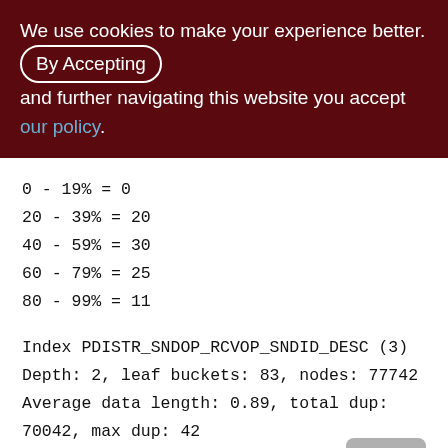We use cookies to make your experience better. By Accepting and further navigating this website you accept our policy.
0 - 19% = 0
20 - 39% = 20
40 - 59% = 30
60 - 79% = 25
80 - 99% = 11
Index PDISTR_SNDOP_RCVOP_SNDID_DESC (3)
Depth: 2, leaf buckets: 83, nodes: 77742
Average data length: 0.89, total dup: 70042, max dup: 42
Fill distribution:
0 - 19% = 0